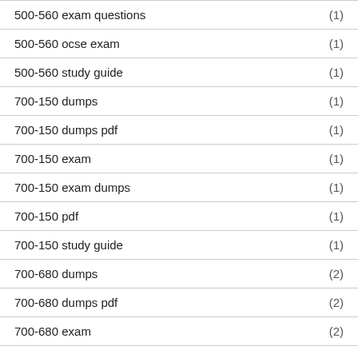500-560 exam questions (1)
500-560 ocse exam (1)
500-560 study guide (1)
700-150 dumps (1)
700-150 dumps pdf (1)
700-150 exam (1)
700-150 exam dumps (1)
700-150 pdf (1)
700-150 study guide (1)
700-680 dumps (2)
700-680 dumps pdf (2)
700-680 exam (2)